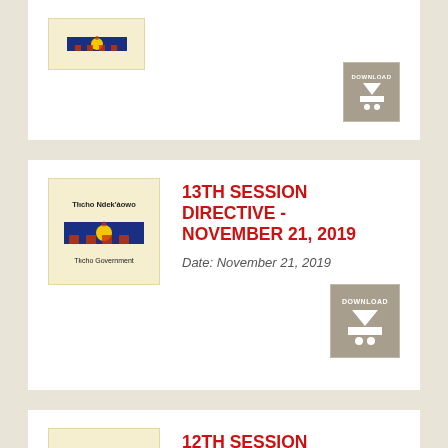[Figure (logo): Tłıcho Government logo - partially visible top card]
13TH SESSION DIRECTIVE - NOVEMBER 21, 2019
Date: November 21, 2019
12TH SESSION DIRECTIVE - SEPTEMBER 20, 2019
Date: September 20, 2019